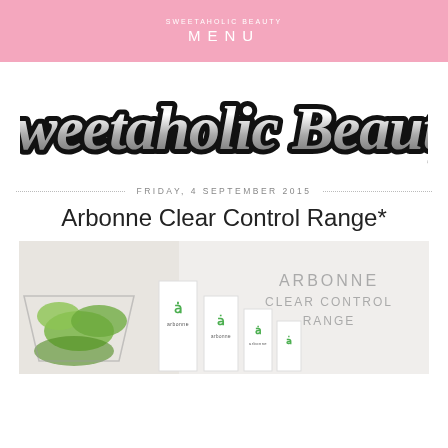MENU
[Figure (logo): Sweetaholic Beauty cursive logo in black and white chrome metallic style with thick black outline]
FRIDAY, 4 SEPTEMBER 2015
Arbonne Clear Control Range*
[Figure (photo): Arbonne Clear Control Range product photo showing white product boxes with green Arbonne logo next to a small succulent plant in a terrarium, with text ARBONNE CLEAR CONTROL RANGE in grey on the right side]